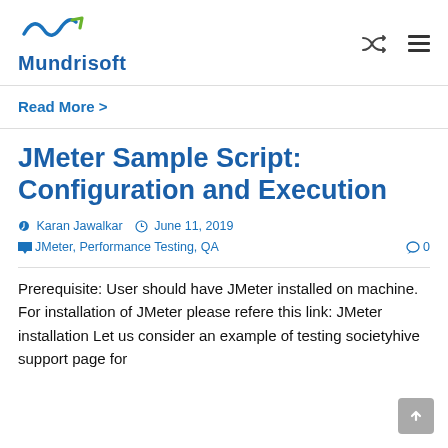Mundrisoft
Read More >
JMeter Sample Script: Configuration and Execution
Karan Jawalkar  June 11, 2019  JMeter, Performance Testing, QA  0
Prerequisite: User should have JMeter installed on machine. For installation of JMeter please refere this link: JMeter installation Let us consider an example of testing societyhive support page for